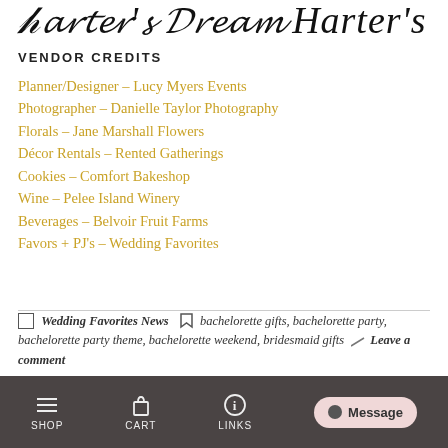Harter's Dream
VENDOR CREDITS
Planner/Designer – Lucy Myers Events
Photographer – Danielle Taylor Photography
Florals – Jane Marshall Flowers
Décor Rentals – Rented Gatherings
Cookies – Comfort Bakeshop
Wine – Pelee Island Winery
Beverages – Belvoir Fruit Farms
Favors + PJ's – Wedding Favorites
Wedding Favorites News  bachelorette gifts, bachelorette party, bachelorette party theme, bachelorette weekend, bridesmaid gifts  Leave a comment
SHOP  CART  LINKS  Message